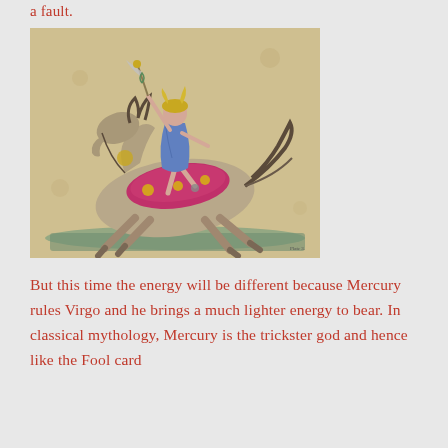a fault.
[Figure (illustration): Historical illustration of Mercury/Hermes figure in blue tunic balancing on a galloping horse while holding a caduceus aloft, depicted in an antique engraving style with beige/tan background.]
But this time the energy will be different because Mercury rules Virgo and he brings a much lighter energy to bear. In classical mythology, Mercury is the trickster god and hence like the Fool card